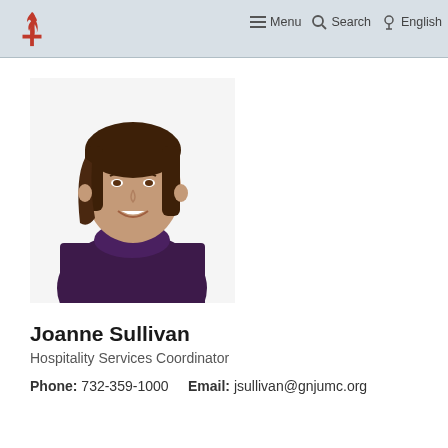Menu  Search  English
[Figure (photo): Portrait photo of Joanne Sullivan, a woman with shoulder-length brown hair wearing a dark purple cowl-neck sweater, smiling against a white/light background.]
Joanne Sullivan
Hospitality Services Coordinator
Phone: 732-359-1000    Email: jsullivan@gnjumc.org